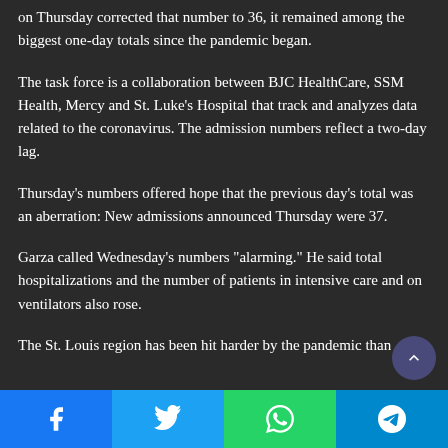on Thursday corrected that number to 36, it remained among the biggest one-day totals since the pandemic began.
The task force is a collaboration between BJC HealthCare, SSM Health, Mercy and St. Luke’s Hospital that track and analyzes data related to the coronavirus. The admission numbers reflect a two-day lag.
Thursday’s numbers offered hope that the previous day’s total was an aberration: New admissions announced Thursday were 37.
Garza called Wednesday’s numbers “alarming.” He said total hospitalizations and the number of patients in intensive care and on ventilators also rose.
The St. Louis region has been hit harder by the pandemic than